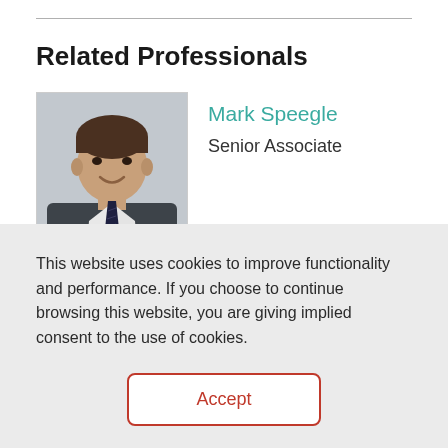Related Professionals
[Figure (photo): Headshot photo of Mark Speegle, a man in a suit with a tie, smiling, against a grey background]
Mark Speegle
Senior Associate
This website uses cookies to improve functionality and performance. If you choose to continue browsing this website, you are giving implied consent to the use of cookies.
Accept